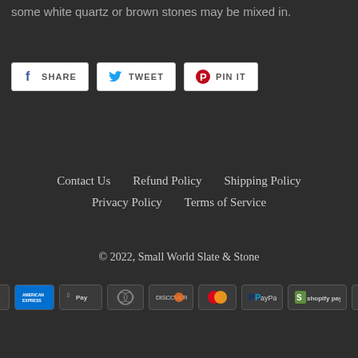some white quartz or brown stones may be mixed in.
[Figure (other): Social share buttons: Facebook Share, Twitter Tweet, Pinterest Pin It]
Contact Us   Refund Policy   Shipping Policy   Privacy Policy   Terms of Service
© 2022, Small World Slate & Stone
[Figure (other): Payment method icons: Amazon Pay, American Express, Apple Pay, Diners Club, Discover, Mastercard, PayPal, Shopify Pay, Visa]